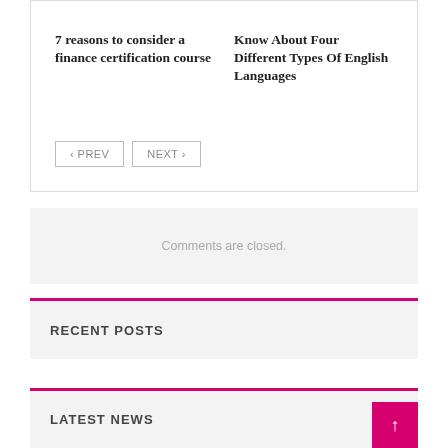7 reasons to consider a finance certification course
Know About Four Different Types Of English Languages
< PREV
NEXT >
Comments are closed.
RECENT POSTS
LATEST NEWS